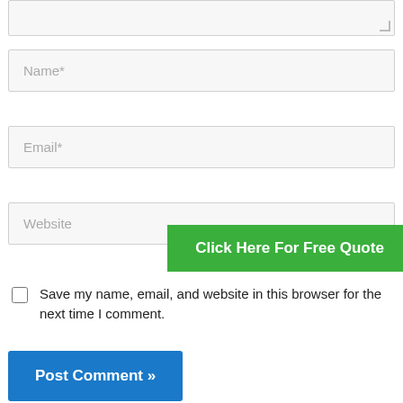[Figure (screenshot): Partial textarea input box at top of page with resize handle in bottom-right corner]
[Figure (screenshot): Text input field with placeholder text 'Name*']
[Figure (screenshot): Text input field with placeholder text 'Email*']
[Figure (screenshot): Text input field with placeholder text 'Website']
[Figure (infographic): Green banner button with text 'Click Here For Free Quote']
Save my name, email, and website in this browser for the next time I comment.
[Figure (screenshot): Blue 'Post Comment »' button]